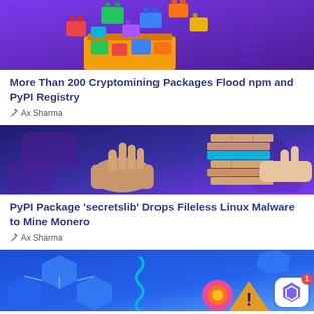[Figure (illustration): Colorful LEGO blocks spilling out of a yellow box on a purple background with binary code]
More Than 200 Cryptomining Packages Flood npm and PyPI Registry
✏ Ax Sharma
[Figure (illustration): Hands playing Jenga with wooden blocks, one block is blue/teal, on a dark purple background]
PyPI Package 'secretslib' Drops Fileless Linux Malware to Mine Monero
✏ Ax Sharma
[Figure (illustration): Network of blue hexagons with a robot/gear figure and warning triangle, with a notification badge showing 1]